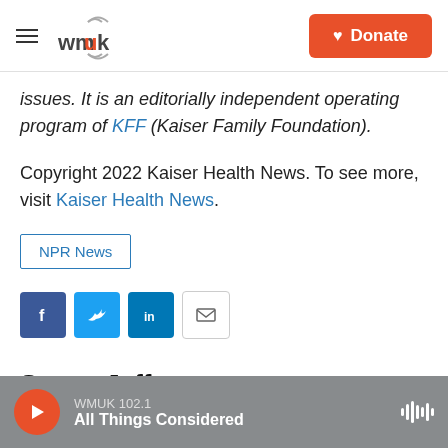WMUK | Donate
issues. It is an editorially independent operating program of KFF (Kaiser Family Foundation).
Copyright 2022 Kaiser Health News. To see more, visit Kaiser Health News.
NPR News
[Figure (infographic): Social share icons: Facebook, Twitter, LinkedIn, and Email]
Susan Jaffe
WMUK 102.1 | All Things Considered